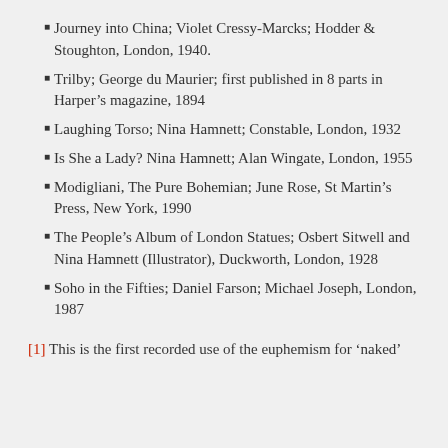Journey into China; Violet Cressy-Marcks; Hodder & Stoughton, London, 1940.
Trilby; George du Maurier; first published in 8 parts in Harper's magazine, 1894
Laughing Torso; Nina Hamnett; Constable, London, 1932
Is She a Lady? Nina Hamnett; Alan Wingate, London, 1955
Modigliani, The Pure Bohemian; June Rose, St Martin's Press, New York, 1990
The People's Album of London Statues; Osbert Sitwell and Nina Hamnett (Illustrator), Duckworth, London, 1928
Soho in the Fifties; Daniel Farson; Michael Joseph, London, 1987
[1] This is the first recorded use of the euphemism for 'naked'